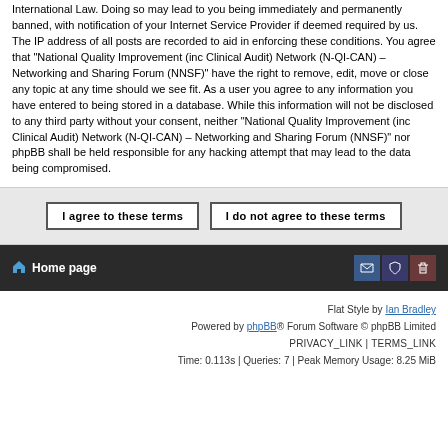International Law. Doing so may lead to you being immediately and permanently banned, with notification of your Internet Service Provider if deemed required by us. The IP address of all posts are recorded to aid in enforcing these conditions. You agree that "National Quality Improvement (inc Clinical Audit) Network (N-QI-CAN) – Networking and Sharing Forum (NNSF)" have the right to remove, edit, move or close any topic at any time should we see fit. As a user you agree to any information you have entered to being stored in a database. While this information will not be disclosed to any third party without your consent, neither "National Quality Improvement (inc Clinical Audit) Network (N-QI-CAN) – Networking and Sharing Forum (NNSF)" nor phpBB shall be held responsible for any hacking attempt that may lead to the data being compromised.
I agree to these terms | I do not agree to these terms
Home page
Flat Style by Ian Bradley
Powered by phpBB® Forum Software © phpBB Limited
PRIVACY_LINK | TERMS_LINK
Time: 0.113s | Queries: 7 | Peak Memory Usage: 8.25 MiB